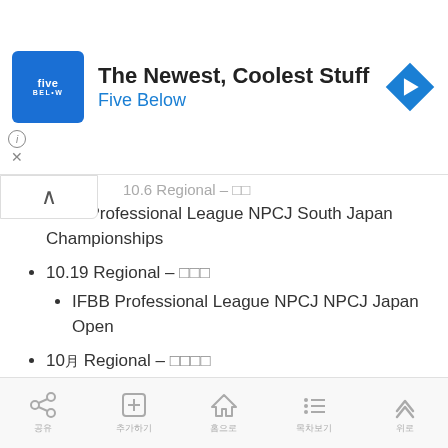[Figure (other): Advertisement banner for Five Below: 'The Newest, Coolest Stuff / Five Below' with blue logo and navigation arrow icon]
10.6 Regional – [Japanese characters]
IFBB Professional League NPCJ South Japan Championships
10.19 Regional – [Japanese characters]
IFBB Professional League NPCJ NPCJ Japan Open
10月 Regional – [Japanese characters]
IFBB Professional League NPCJ North Japan Open
Share | Add | Home | List | Up